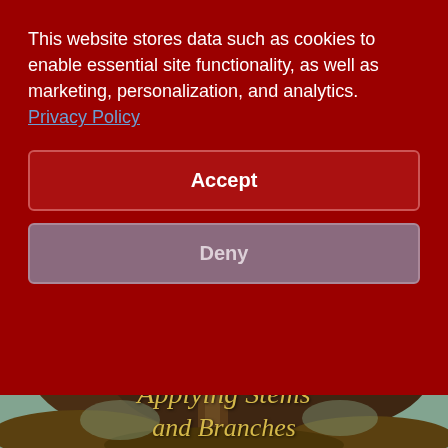This website stores data such as cookies to enable essential site functionality, as well as marketing, personalization, and analytics. Privacy Policy
[Figure (other): Accept button - a dark red rectangular button with white bold text 'Accept' and rounded corners with a border]
[Figure (other): Deny button - a muted purple/mauve rectangular button with light text 'Deny' and rounded corners with a border]
[Figure (illustration): Book cover illustration showing a tree with broad canopy in browns and teal/turquoise crackled paint background. Title text 'Applying Stems and Branches' visible at bottom in golden italic serif font.]
Applying Stems and Branches